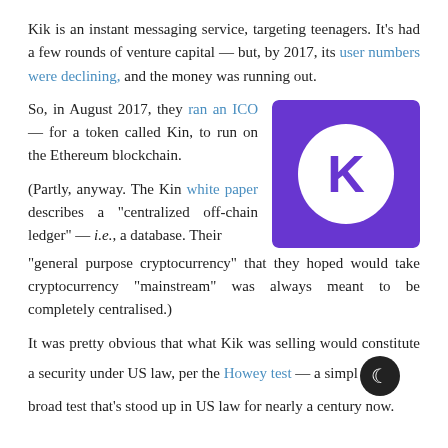Kik is an instant messaging service, targeting teenagers. It's had a few rounds of venture capital — but, by 2017, its user numbers were declining, and the money was running out.
So, in August 2017, they ran an ICO — for a token called Kin, to run on the Ethereum blockchain.
[Figure (logo): Kin cryptocurrency logo: purple square with rounded corners containing a white rounded square with a purple stylized K icon]
(Partly, anyway. The Kin white paper describes a "centralized off-chain ledger" — i.e., a database. Their "general purpose cryptocurrency" that they hoped would take cryptocurrency "mainstream" was always meant to be completely centralised.)
It was pretty obvious that what Kik was selling would constitute a security under US law, per the Howey test — a simple broad test that's stood up in US law for nearly a century now.